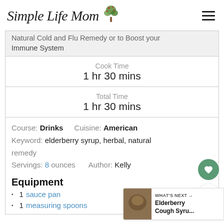Simple Life Mom
Natural Cold and Flu Remedy or to Boost your Immune System
Cook Time
1 hr 30 mins
Total Time
1 hr 30 mins
Course: Drinks   Cuisine: American
Keyword: elderberry syrup, herbal, natural remedy
Servings: 8 ounces   Author: Kelly
Equipment
1 sauce pan
1 measuring spoons